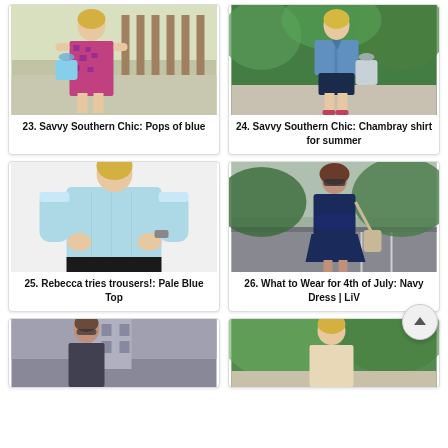[Figure (photo): Woman in pink patterned dress holding a blue handbag outdoors]
23. Savvy Southern Chic: Pops of blue
[Figure (photo): Woman in chambray shirt and navy shorts holding a grey bag outdoors]
24. Savvy Southern Chic: Chambray shirt for summer
[Figure (photo): Woman in pale blue top and black pants, close-up torso shot]
25. Rebecca tries trousers!: Pale Blue Top
[Figure (photo): Woman in navy dress standing outdoors in parking lot]
26. What to Wear for 4th of July: Navy Dress | LiV
[Figure (photo): Woman in grey/dark outfit standing in urban setting]
[Figure (photo): Woman outdoors in green setting with short blonde hair]